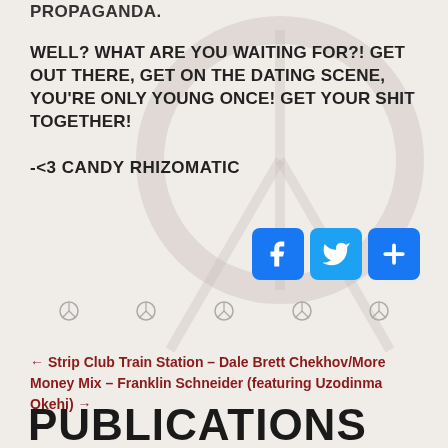PROPAGANDA.
WELL? WHAT ARE YOU WAITING FOR?! GET OUT THERE, GET ON THE DATING SCENE, YOU'RE ONLY YOUNG ONCE! GET YOUR SHIT TOGETHER!
-<3 CANDY RHIZOMATIC
[Figure (other): Three social media share buttons: Facebook (f), Twitter (bird), and a plus/share button, all with blue rounded square backgrounds]
[Figure (other): Five small circular peace-sign / anarchy symbols as decorative dividers]
← Strip Club Train Station – Dale Brett
Chekhov/More Money Mix – Franklin Schneider
(featuring Uzodinma Okehi) →
PUBLICATIONS